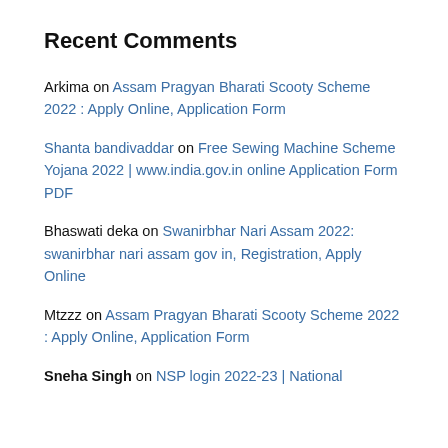Recent Comments
Arkima on Assam Pragyan Bharati Scooty Scheme 2022 : Apply Online, Application Form
Shanta bandivaddar on Free Sewing Machine Scheme Yojana 2022 | www.india.gov.in online Application Form PDF
Bhaswati deka on Swanirbhar Nari Assam 2022: swanirbhar nari assam gov in, Registration, Apply Online
Mtzzz on Assam Pragyan Bharati Scooty Scheme 2022 : Apply Online, Application Form
Sneha Singh on NSP login 2022-23 | National